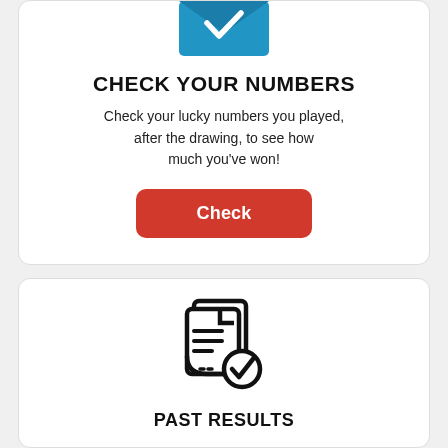[Figure (illustration): Blue envelope icon with a white check mark, partially cropped at top of card]
CHECK YOUR NUMBERS
Check your lucky numbers you played, after the drawing, to see how much you've won!
[Figure (illustration): Red rounded rectangle button labeled 'Check']
[Figure (illustration): Black outline icon of a file folder with documents and a checkmark badge]
PAST RESULTS